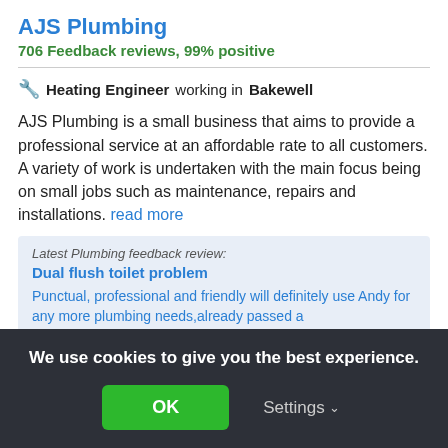AJS Plumbing
706 Feedback reviews, 99% positive
🔧 Heating Engineer working in Bakewell
AJS Plumbing is a small business that aims to provide a professional service at an affordable rate to all customers. A variety of work is undertaken with the main focus being on small jobs such as maintenance, repairs and installations. read more
Latest Plumbing feedback review: Dual flush toilet problem
Punctual, professional and friendly will definitely use Andy for any more plumbing needs,already passed a
We use cookies to give you the best experience.
OK
Settings